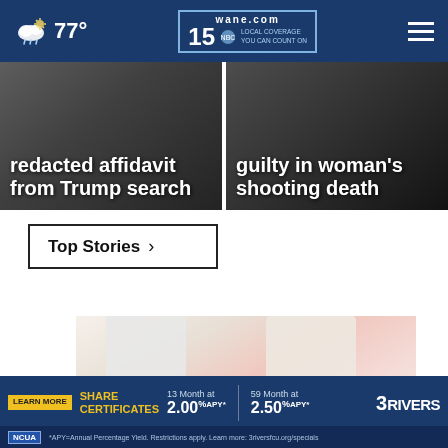77° wane.com 15 LOCAL COVERAGE YOU CAN COUNT ON
[Figure (screenshot): News headline card: redacted affidavit from Trump search]
[Figure (screenshot): News headline card: guilty in woman's shooting death]
Top Stories ›
[Figure (photo): Advertisement showing casual shoes/espadrilles on a woman's feet, with a close (X) button]
[Figure (infographic): 3Rivers Federal Credit Union advertisement: SHARE CERTIFICATES 13 Month at 2.00% APY* | 59 Month at 2.50% APY* | *APY=Annual Percentage Yield. Restrictions apply. Learn more: 3riversfcu.org/specials]